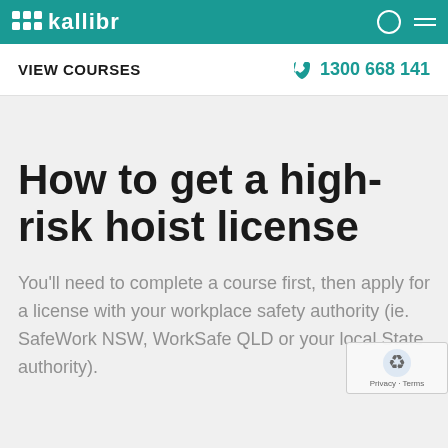kallibr - VIEW COURSES - 1300 668 141
How to get a high-risk hoist license
You'll need to complete a course first, then apply for a license with your workplace safety authority (ie. SafeWork NSW, WorkSafe QLD or your local State authority).